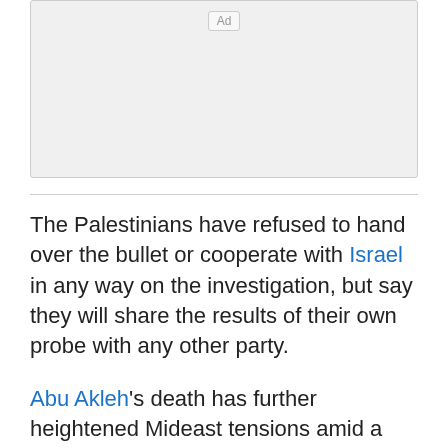[Figure (other): Advertisement placeholder box with 'Ad' label]
The Palestinians have refused to hand over the bullet or cooperate with Israel in any way on the investigation, but say they will share the results of their own probe with any other party.
Abu Akleh's death has further heightened Mideast tensions amid a wave of violence and raised new concerns over the safety of reporters covering Israel's nearly 55-year